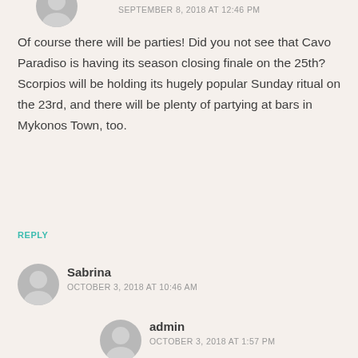[Figure (illustration): Gray avatar circle with silhouette icon, partially visible at top]
SEPTEMBER 8, 2018 AT 12:46 PM
Of course there will be parties! Did you not see that Cavo Paradiso is having its season closing finale on the 25th? Scorpios will be holding its hugely popular Sunday ritual on the 23rd, and there will be plenty of partying at bars in Mykonos Town, too.
REPLY
[Figure (illustration): Gray avatar circle with silhouette icon for user Sabrina]
Sabrina
OCTOBER 3, 2018 AT 10:46 AM
anything in November 2018?
REPLY
[Figure (illustration): Gray avatar circle with silhouette icon for admin]
admin
OCTOBER 3, 2018 AT 1:57 PM